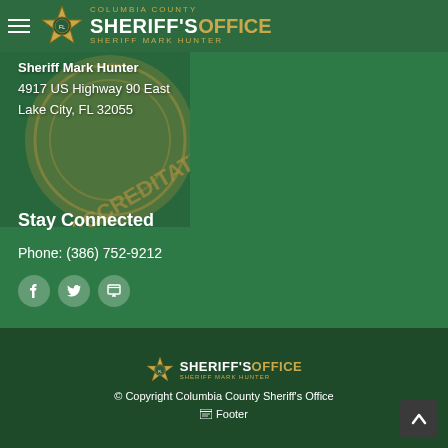Columbia County Sheriff's Office - Sheriff Mark Hunter
[Figure (logo): Columbia County accreditation seal, partially visible, gold and tan circular seal]
Sheriff Mark Hunter
4917 US Highway 90 East
Lake City, FL 32055
Stay Connected
Phone: (386) 752-9212
[Figure (illustration): Social media icons: Facebook, Twitter, and a calendar/screen icon, displayed as circular buttons]
[Figure (logo): Columbia County Sheriff's Office footer logo with star badge icon]
© Copyright Columbia County Sheriff's Office
Footer